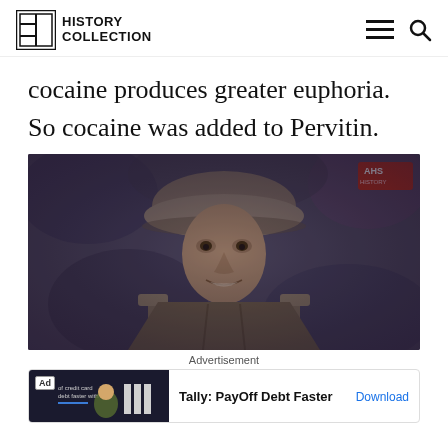HISTORY COLLECTION
cocaine produces greater euphoria. So cocaine was added to Pervitin.
[Figure (photo): A WWII-era German soldier wearing a helmet and SS collar insignia, looking intensely at the camera. The image has a sepia/desaturated tone. A red watermark logo appears in the upper right corner.]
Advertisement
Tally: PayOff Debt Faster  Download